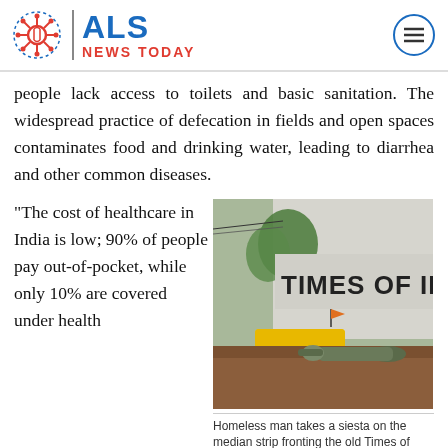ALS NEWS TODAY
people lack access to toilets and basic sanitation. The widespread practice of defecation in fields and open spaces contaminates food and drinking water, leading to diarrhea and other common diseases.
“The cost of healthcare in India is low; 90% of people pay out-of-pocket, while only 10% are covered under health
[Figure (photo): Homeless man lying on a ledge in front of a building with 'TIMES OF INDIA' text visible on the wall, with a yellow vehicle nearby]
Homeless man takes a siesta on the median strip fronting the old Times of India